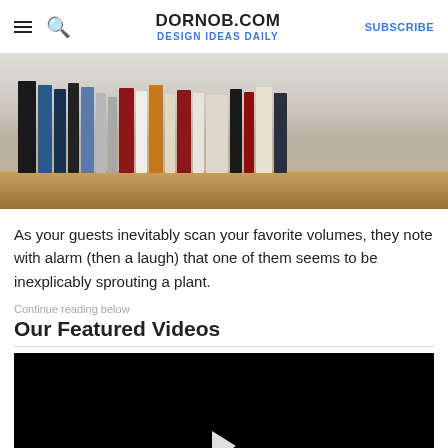DORNOB.COM | DESIGN IDEAS DAILY | SUBSCRIBE
[Figure (photo): Photo of a row of books on a wooden shelf against a white/gray wall]
As your guests inevitably scan your favorite volumes, they note with alarm (then a laugh) that one of them seems to be inexplicably sprouting a plant.
Continue reading below
Our Featured Videos
[Figure (screenshot): Black video player with a white play button arrow at the bottom center]